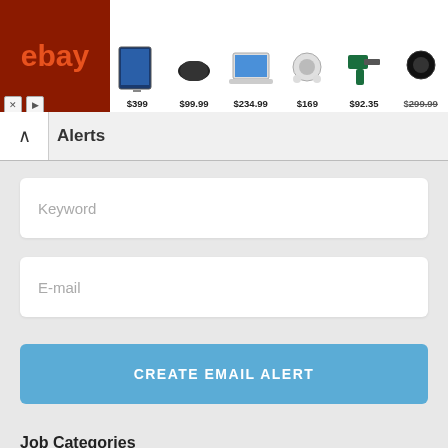[Figure (screenshot): eBay advertisement banner showing products with prices: $399, $99.99, $234.99, $169, $92.35, $299.99]
Alerts
Keyword
E-mail
CREATE EMAIL ALERT
Job Categories
Engineering (144)
Trades & Services (443)
Construction (815)